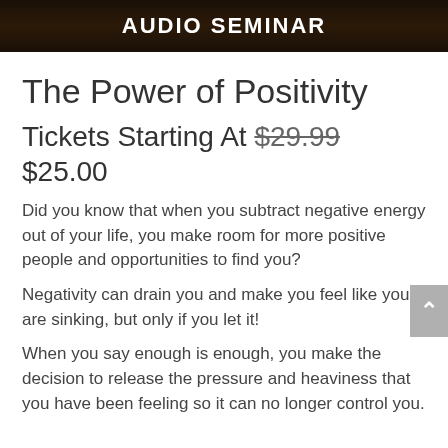[Figure (other): Dark banner image with text AUDIO SEMINAR in white bold capital letters]
The Power of Positivity
Tickets Starting At $29.99 $25.00
Did you know that when you subtract negative energy out of your life, you make room for more positive people and opportunities to find you?
Negativity can drain you and make you feel like you are sinking, but only if you let it!
When you say enough is enough, you make the decision to release the pressure and heaviness that you have been feeling so it can no longer control you.